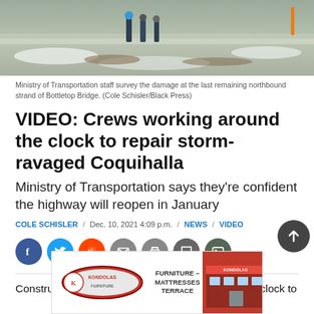[Figure (photo): Ministry of Transportation staff surveying damage at Bottletop Bridge, snowy outdoor scene]
Ministry of Transportation staff survey the damage at the last remaining northbound strand of Bottletop Bridge. (Cole Schisler/Black Press)
VIDEO: Crews working around the clock to repair storm-ravaged Coquihalla
Ministry of Transportation says they're confident the highway will reopen in January
COLE SCHISLER / Dec. 10, 2021 4:09 p.m. / NEWS / VIDEO
[Figure (infographic): Social sharing buttons: Facebook, Twitter, Reddit, Email, Print, Comment, Gallery]
Construction crews have been working around the clock to
[Figure (other): Kondolas Furniture - Mattresses Terrace advertisement banner]